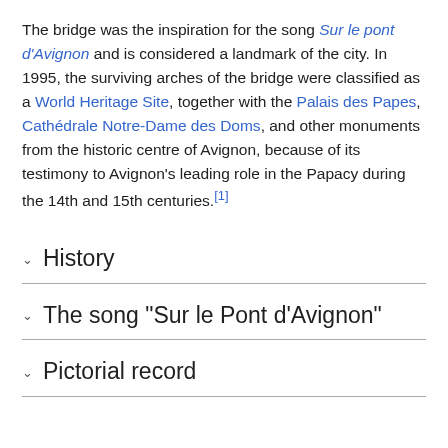The bridge was the inspiration for the song Sur le pont d'Avignon and is considered a landmark of the city. In 1995, the surviving arches of the bridge were classified as a World Heritage Site, together with the Palais des Papes, Cathédrale Notre-Dame des Doms, and other monuments from the historic centre of Avignon, because of its testimony to Avignon's leading role in the Papacy during the 14th and 15th centuries.[1]
History
The song "Sur le Pont d'Avignon"
Pictorial record